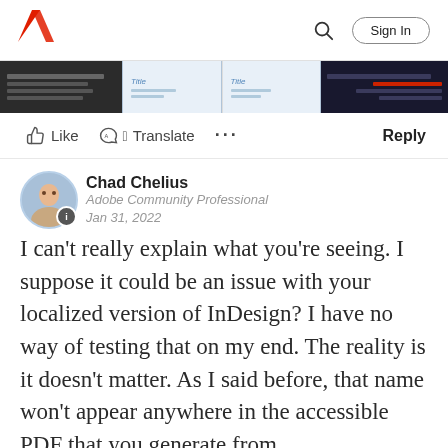Adobe | Sign In
[Figure (screenshot): Screenshot of Adobe InDesign interface panels showing dark UI with table/grid content]
Like  Translate  ...  Reply
Chad Chelius
Adobe Community Professional
Jan 31, 2022
I can't really explain what you're seeing. I suppose it could be an issue with your localized version of InDesign? I have no way of testing that on my end. The reality is it doesn't matter. As I said before, that name won't appear anywhere in the accessible PDF that you generate from